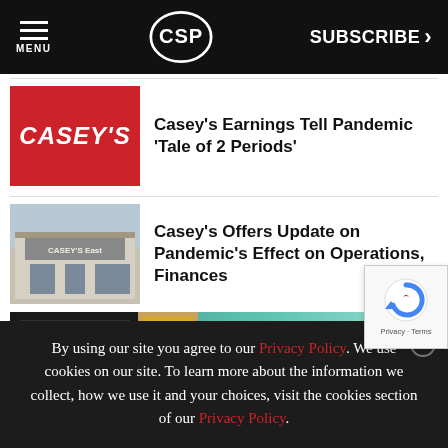MENU | CSP | SUBSCRIBE >
Casey's Earnings Tell Pandemic 'Tale of 2 Periods'
Casey's Offers Update on Pandemic's Effect on Operations, Finances
[Figure (screenshot): Ad banner for Toro Freshpack Cuban Rounds cigars with 'Now Available: TORO FRESHPACK' text and 'Learn More' button]
By using our site you agree to our Privacy Policy. We use cookies on our site. To learn more about the information we collect, how we use it and your choices, visit the cookies section of our Privacy Policy.